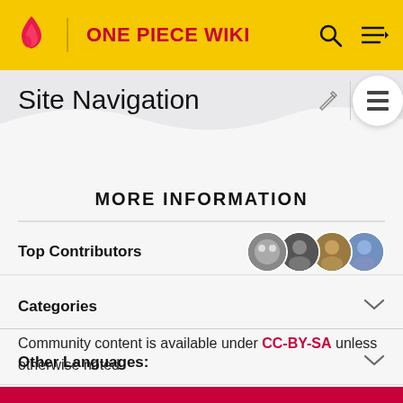ONE PIECE WIKI
Site Navigation
MORE INFORMATION
Top Contributors
Categories
Other Languages:
Community content is available under CC-BY-SA unless otherwise noted.